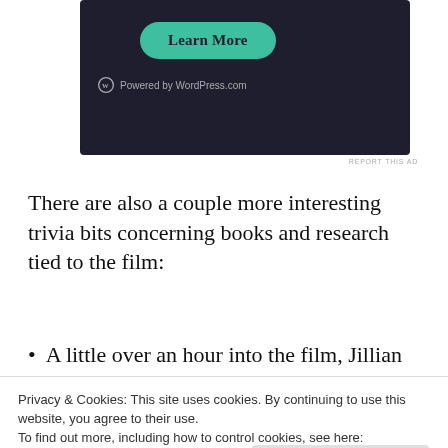[Figure (screenshot): Dark-themed advertisement banner with a teal 'Learn More' button and 'Powered by WordPress.com' text at the bottom.]
REPORT THIS AD
There are also a couple more interesting trivia bits concerning books and research tied to the film:
A little over an hour into the film, Jillian
Privacy & Cookies: This site uses cookies. By continuing to use this website, you agree to their use.
To find out more, including how to control cookies, see here:
Cookie Policy
The book that Abby and Erin co-